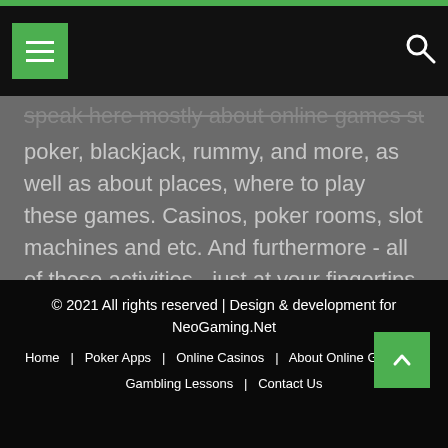[Navigation bar with menu button and search icon]
speak here mostly about online games such as poker, blackjack, rummy, and more, as well as about places, where to play these games. Casinos, poker rooms, slot machines and etc. And furthermore - all of these activities - just at your fingertips - online!
© 2021 All rights reserved | Design & development for NeoGaming.Net
Home | Poker Apps | Online Casinos | About Online Gambling | Gambling Lessons | Contact Us